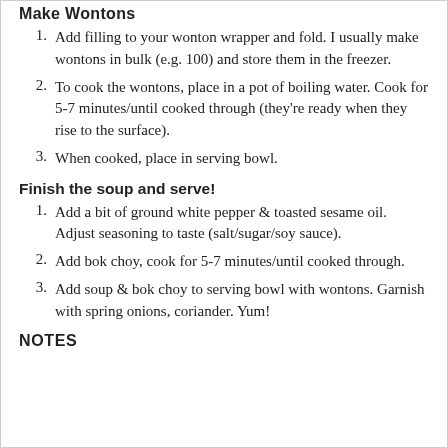Make Wontons
Add filling to your wonton wrapper and fold. I usually make wontons in bulk (e.g. 100) and store them in the freezer.
To cook the wontons, place in a pot of boiling water. Cook for 5-7 minutes/until cooked through (they're ready when they rise to the surface).
When cooked, place in serving bowl.
Finish the soup and serve!
Add a bit of ground white pepper & toasted sesame oil. Adjust seasoning to taste (salt/sugar/soy sauce).
Add bok choy, cook for 5-7 minutes/until cooked through.
Add soup & bok choy to serving bowl with wontons. Garnish with spring onions, coriander. Yum!
NOTES